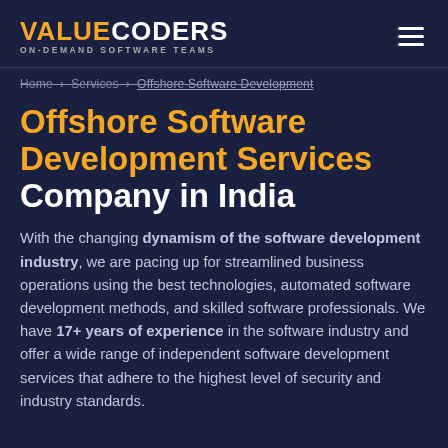VALUECODERS ON-DEMAND SOFTWARE TEAMS
Home > Services > Offshore Software Development
Offshore Software Development Services Company in India
With the changing dynamism of the software development industry, we are pacing up for streamlined business operations using the best technologies, automated software development methods, and skilled software professionals. We have 17+ years of experience in the software industry and offer a wide range of independent software development services that adhere to the highest level of security and industry standards.